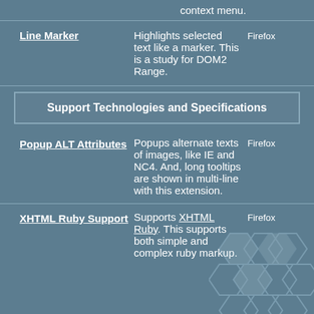context menu.
| Feature | Description | Browser |
| --- | --- | --- |
| Line Marker | Highlights selected text like a marker. This is a study for DOM2 Range. | Firefox |
| Support Technologies and Specifications |  |  |
| Popup ALT Attributes | Popups alternate texts of images, like IE and NC4. And, long tooltips are shown in multi-line with this extension. | Firefox |
| XHTML Ruby Support | Supports XHTML Ruby. This supports both simple and complex ruby markup. | Firefox |